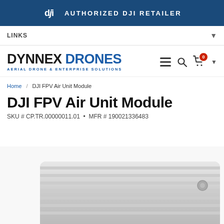AUTHORIZED DJI RETAILER
LINKS
[Figure (logo): Dynnex Drones logo — DYNNEX DRONES AERIAL DRONE & ENTERPRISE SOLUTIONS]
Home / DJI FPV Air Unit Module
DJI FPV Air Unit Module
SKU # CP.TR.00000011.01  •  MFR # 190021336483
[Figure (photo): DJI FPV Air Unit Module product photo — white/silver rectangular module with ridged heat sink surface, partially cropped at bottom of page]